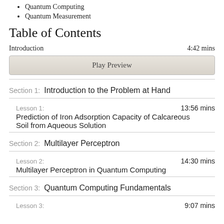Quantum Computing
Quantum Measurement
Table of Contents
Introduction   4:42 mins
Play Preview
Section 1:  Introduction to the Problem at Hand
Lesson 1:   13:56 mins
Prediction of Iron Adsorption Capacity of Calcareous Soil from Aqueous Solution
Section 2:  Multilayer Perceptron
Lesson 2:   14:30 mins
Multilayer Perceptron in Quantum Computing
Section 3:  Quantum Computing Fundamentals
Lesson 3:   9:07 mins